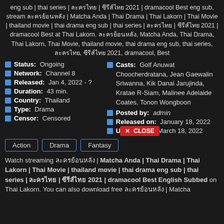eng sub | thai series | ละครไทย | ซีรีส์ไทย 2021 | dramacool Best eng sub, stream ละครย้อนหลัง | Matcha Anda | Thai Drama | Thai Lakorn | Thai Movie | thailand movie | thai drama eng sub | thai series | ละครไทย | ซีรีส์ไทย 2021 | dramacool Best at Thai Lakorn. ละครย้อนหลัง, Matcha Anda, Thai Drama, Thai Lakorn, Thai Movie, thailand movie, thai drama eng sub, thai series, ละครไทย, ซีรีส์ไทย 2021, dramacool, Best
Status: Ongoing
Network: Channel 8
Released: Jan 4, 2022 - ?
Duration: 43 min.
Country: Thailand
Type: Drama
Censor: Censored
Casts: Golf Anuwat Choocherdratana, Jean Gaewalin Sriwanna, Kik Danai Jarujinda, Kratae R-Siam, Malinee Adelaide Coates, Tonon Wongboon
Posted by: admin
Released on: January 18, 2022
Updated on: March 18, 2022
Action  Drama  Fantasy
Watch streaming ละครย้อนหลัง | Matcha Anda | Thai Drama | Thai Lakorn | Thai Movie | thailand movie | thai drama eng sub | thai series | ละครไทย | ซีรีส์ไทย 2021 | dramacool Best English Subbed on Thai Lakorn. You can also download free ละครย้อนหลัง | Matcha